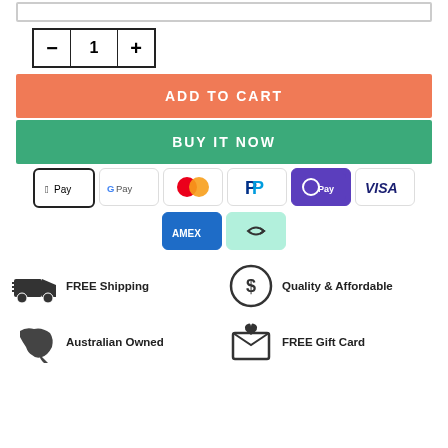[Figure (screenshot): Top input box (empty text field)]
[Figure (other): Quantity selector with minus, 1, plus buttons]
ADD TO CART
BUY IT NOW
[Figure (other): Payment icons: Apple Pay, Google Pay, Mastercard, PayPal, OPay, Visa, Amex, Afterpay]
[Figure (infographic): FREE Shipping icon with delivery truck]
FREE Shipping
[Figure (infographic): Quality & Affordable dollar sign icon]
Quality & Affordable
[Figure (infographic): Australian Owned map of Australia icon]
Australian Owned
[Figure (infographic): FREE Gift Card envelope icon with heart]
FREE Gift Card